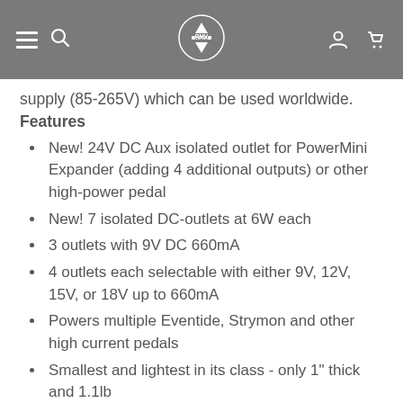Navigation bar with hamburger menu, search, logo, user, and cart icons
supply (85-265V) which can be used worldwide. Features
New! 24V DC Aux isolated outlet for PowerMini Expander (adding 4 additional outputs) or other high-power pedal
New! 7 isolated DC-outlets at 6W each
3 outlets with 9V DC 660mA
4 outlets each selectable with either 9V, 12V, 15V, or 18V up to 660mA
Powers multiple Eventide, Strymon and other high current pedals
Smallest and lightest in its class - only 1" thick and 1.1lb